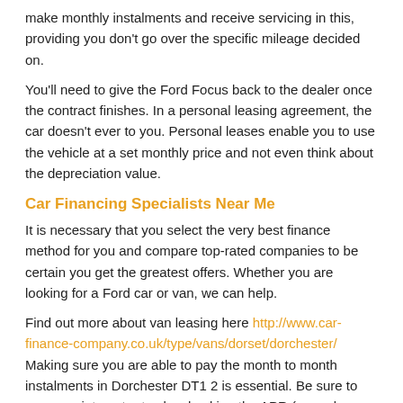make monthly instalments and receive servicing in this, providing you don't go over the specific mileage decided on.
You'll need to give the Ford Focus back to the dealer once the contract finishes. In a personal leasing agreement, the car doesn't ever to you. Personal leases enable you to use the vehicle at a set monthly price and not even think about the depreciation value.
Car Financing Specialists Near Me
It is necessary that you select the very best finance method for you and compare top-rated companies to be certain you get the greatest offers. Whether you are looking for a Ford car or van, we can help.
Find out more about van leasing here http://www.car-finance-company.co.uk/type/vans/dorset/dorchester/ Making sure you are able to pay the month to month instalments in Dorchester DT1 2 is essential. Be sure to compare interest rates by checking the APR (annual percentage rate), including all of the expenses you have to pay. Understand that a larger down payment will often mean a lower interest rate.